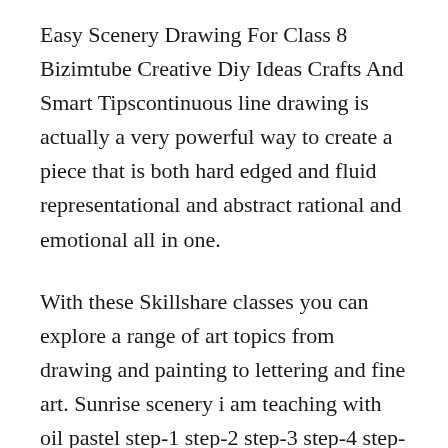Easy Scenery Drawing For Class 8 Bizimtube Creative Diy Ideas Crafts And Smart Tipscontinuous line drawing is actually a very powerful way to create a piece that is both hard edged and fluid representational and abstract rational and emotional all in one.
With these Skillshare classes you can explore a range of art topics from drawing and painting to lettering and fine art. Sunrise scenery i am teaching with oil pastel step-1 step-2 step-3 step-4 step-5 step-6 step-7 step-8 step-9 step-10. These frames is just an examplescenery pencil drawing picturesmere.